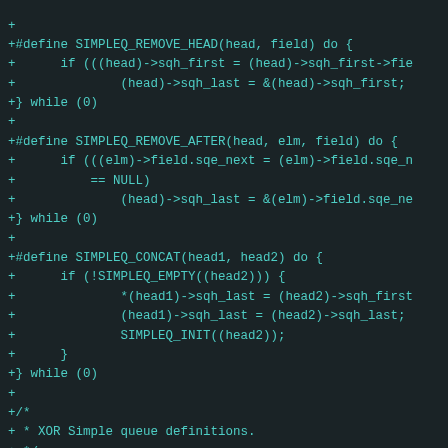[Figure (screenshot): Code diff screenshot showing C macro definitions for SIMPLEQ_REMOVE_HEAD, SIMPLEQ_REMOVE_AFTER, SIMPLEQ_CONCAT, and XSIMPLEQ_HEAD on a dark background with teal/cyan monospace text. Lines prefixed with '+' indicate additions.]